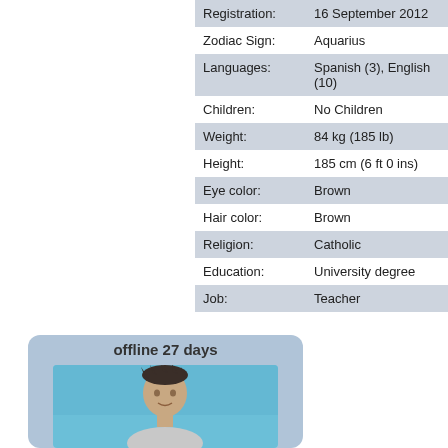| Field | Value |
| --- | --- |
| Registration: | 16 September 2012 |
| Zodiac Sign: | Aquarius |
| Languages: | Spanish (3), English (10) |
| Children: | No Children |
| Weight: | 84 kg (185 lb) |
| Height: | 185 cm (6 ft 0 ins) |
| Eye color: | Brown |
| Hair color: | Brown |
| Religion: | Catholic |
| Education: | University degree |
| Job: | Teacher |
[Figure (photo): Profile photo of a man with dark spiky hair against a blue sky background, shown in a rounded card with 'offline 27 days' label]